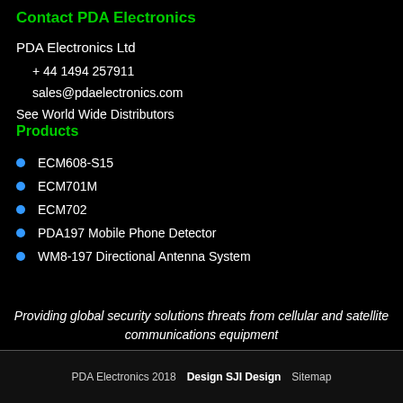Contact PDA Electronics
PDA Electronics Ltd
+ 44 1494 257911
sales@pdaelectronics.com
See World Wide Distributors
Products
ECM608-S15
ECM701M
ECM702
PDA197 Mobile Phone Detector
WM8-197 Directional Antenna System
Providing global security solutions threats from cellular and satellite communications equipment
PDA Electronics 2018   Design SJI Design   Sitemap